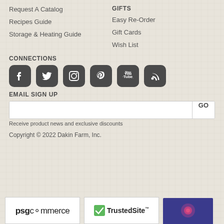Request A Catalog
Recipes Guide
Storage & Heating Guide
GIFTS
Easy Re-Order
Gift Cards
Wish List
CONNECTIONS
[Figure (infographic): Six social media icons: Facebook, Twitter, Instagram, Pinterest, YouTube, RSS feed]
EMAIL SIGN UP
[Figure (other): Email sign up input field with GO button]
Receive product news and exclusive discounts
Copyright © 2022 Dakin Farm, Inc.
[Figure (logo): psgcommerce logo]
[Figure (logo): TrustedSite logo with green checkmark]
[Figure (logo): Entrust logo with concentric circles on dark blue background]